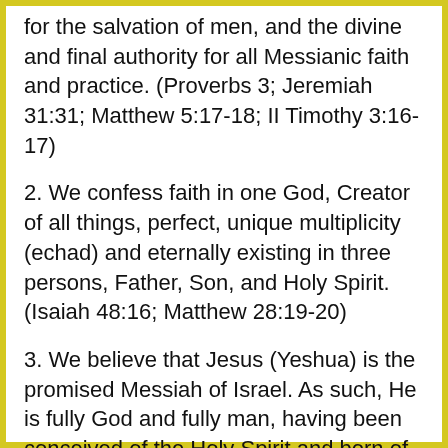for the salvation of men, and the divine and final authority for all Messianic faith and practice. (Proverbs 3; Jeremiah 31:31; Matthew 5:17-18; II Timothy 3:16-17)
2. We confess faith in one God, Creator of all things, perfect, unique multiplicity (echad) and eternally existing in three persons, Father, Son, and Holy Spirit. (Isaiah 48:16; Matthew 28:19-20)
3. We believe that Jesus (Yeshua) is the promised Messiah of Israel. As such, He is fully God and fully man, having been conceived of the Holy Spirit and born of the Virgin Mary (Miriam), who was of Davidic descent.
4. Jesus (Yeshua) died on the cross as a sacrifice for our sins according to the Scriptures (Psalm 22; Isaiah 53; I Peter 2:24). Further, He arose bodily from the dead after three days (Psalm 16:10-11; Matthew 12:39-40), ascended into heaven, where seated at the right of the Father, He is now our High Priest and Advocate. (Acts 1:9-11; Hebrews